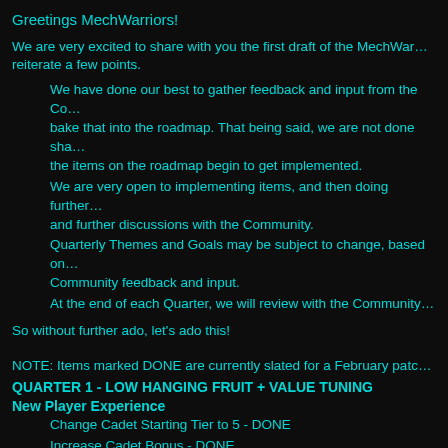Greetings MechWarriors!
We are very excited to share with you the first draft of the MechWar... reiterate a few points.
We have done our best to gather feedback and input from the Co... bake that into the roadmap. That being said, we are not done sha... the items on the roadmap begin to get implemented.
We are very open to implementing items, and then doing further... and further discussions with the Community.
Quarterly Themes and Goals may be subject to change, based on... Community feedback and input.
At the end of each Quarter, we will review with the Community...
So without further ado, let's ado this!
NOTE: Items marked DONE are currently slated for a February patc...
QUARTER 1 - LOW HANGING FRUIT + VALUE TUNING
New Player Experience
Change Cadet Starting Tier to 5 - DONE
Increase Cadet Bonus - DONE
Update Trial 'Mechs and Loadouts (batch 1)(regularly with a...